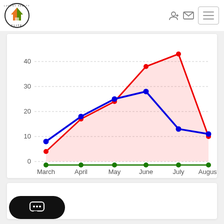[Figure (logo): Luxury Realty Elite logo — house icon with orange and green halves inside a circle with text around it]
[Figure (line-chart): Monthly data (March–August)]